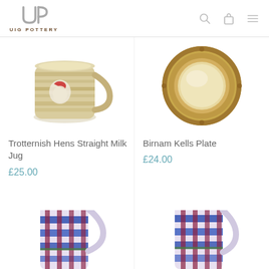UIG POTTERY
[Figure (photo): Trotternish Hens Straight Milk Jug - ceramic mug with hen/rooster design in earth tones]
Trotternish Hens Straight Milk Jug
£25.00
[Figure (photo): Birnam Kells Plate - circular plate with Celtic knotwork border and textured center]
Birnam Kells Plate
£24.00
[Figure (photo): Partially visible ceramic jug with blue and maroon striped pattern - bottom of page left]
[Figure (photo): Partially visible ceramic jug with blue and maroon striped pattern - bottom of page right]